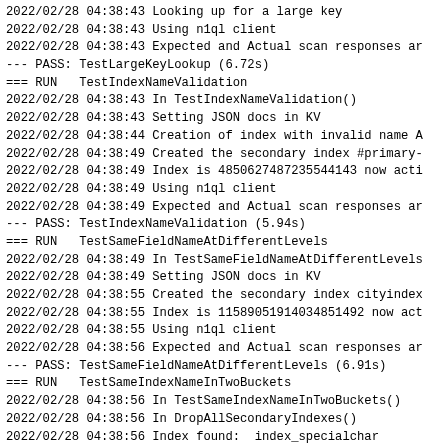2022/02/28 04:38:43 Looking up for a large key
2022/02/28 04:38:43 Using n1ql client
2022/02/28 04:38:43 Expected and Actual scan responses ar
--- PASS: TestLargeKeyLookup (6.72s)
=== RUN   TestIndexNameValidation
2022/02/28 04:38:43 In TestIndexNameValidation()
2022/02/28 04:38:43 Setting JSON docs in KV
2022/02/28 04:38:44 Creation of index with invalid name A
2022/02/28 04:38:49 Created the secondary index #primary-
2022/02/28 04:38:49 Index is 4850627487235544143 now acti
2022/02/28 04:38:49 Using n1ql client
2022/02/28 04:38:49 Expected and Actual scan responses ar
--- PASS: TestIndexNameValidation (5.94s)
=== RUN   TestSameFieldNameAtDifferentLevels
2022/02/28 04:38:49 In TestSameFieldNameAtDifferentLevels
2022/02/28 04:38:49 Setting JSON docs in KV
2022/02/28 04:38:55 Created the secondary index cityindex
2022/02/28 04:38:55 Index is 11589051914034851492 now act
2022/02/28 04:38:55 Using n1ql client
2022/02/28 04:38:56 Expected and Actual scan responses ar
--- PASS: TestSameFieldNameAtDifferentLevels (6.91s)
=== RUN   TestSameIndexNameInTwoBuckets
2022/02/28 04:38:56 In TestSameIndexNameInTwoBuckets()
2022/02/28 04:38:56 In DropAllSecondaryIndexes()
2022/02/28 04:38:56 Index found:  index_specialchar
2022/02/28 04:38:56 Dropped index index_specialchar
2022/02/28 04:38:56 Index found:  index_userscreenname
2022/02/28 04:38:56 Dropped index index_userscreenname
2022/02/28 04:38:56 Index found:  index_gender
2022/02/28 04:38:56 Dropped index index_gender